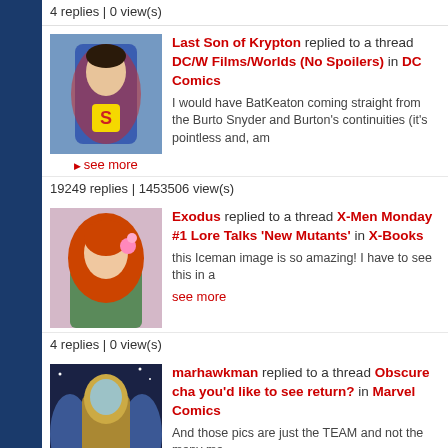4 replies | 0 view(s)
Last Son of Krypton replied to a thread DC/W Films/Worlds (No Spoilers) in DC Comics
I would have BatKeaton coming straight from the Burto Snyder and Burton's continuities (it's pointless and, am
▶ see more
19249 replies | 1453506 view(s)
Exodus replied to a thread X-Men Monday #1 Lore Talks 'New Mutants' in X-Books
this Iceman image is so amazing! I have to see this in a
see more
4 replies | 0 view(s)
marhawkman replied to a thread Obscure ch you'd like to see return? in Marvel Comics
And those pics are just the TEAM and not the many ma
▶ see more
325 replies | 12682 view(s)